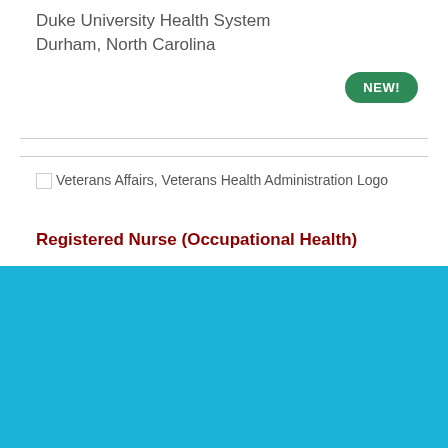Duke University Health System
Durham, North Carolina
[Figure (logo): Veterans Affairs, Veterans Health Administration Logo]
Registered Nurse (Occupational Health)
Cookie Settings  Got it
We use cookies so that we can remember you and understand how you use our site. If you do not agree with our use of cookies, please change the current settings found in our Cookie Policy. Otherwise, you agree to the use of the cookies as they are currently set.